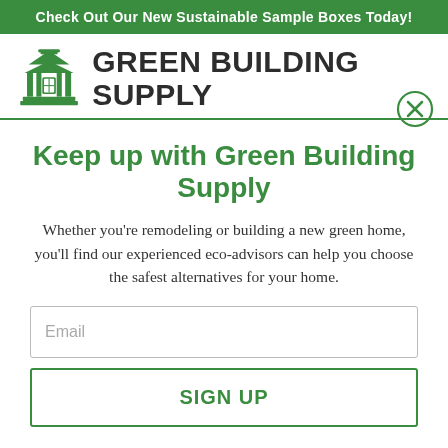Check Out Our New Sustainable Sample Boxes Today!
[Figure (logo): Green Building Supply logo with green pagoda/building icon and bold dark text 'GREEN BUILDING SUPPLY']
Keep up with Green Building Supply
Whether you're remodeling or building a new green home, you'll find our experienced eco-advisors can help you choose the safest alternatives for your home.
Email
SIGN UP